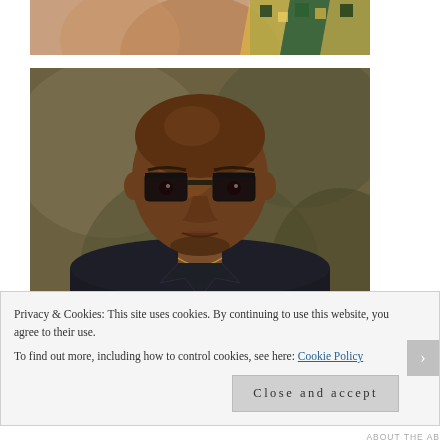[Figure (photo): Partial photo showing top portion of a person with a colorful patterned scarf/wrap, cropped at the top of the page]
[Figure (photo): Portrait photo of a bald Black man wearing large square-framed dark glasses and a dark shirt, with a necklace, posed against a muted olive/brown background]
Privacy & Cookies: This site uses cookies. By continuing to use this website, you agree to their use.
To find out more, including how to control cookies, see here: Cookie Policy
Close and accept